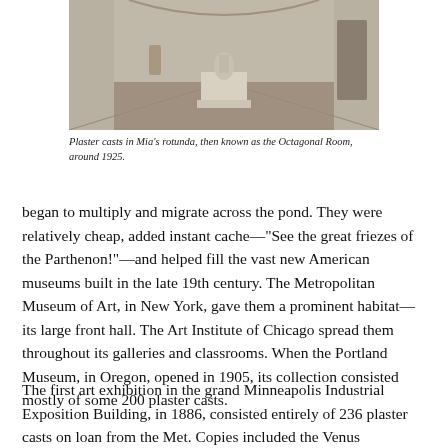[Figure (photo): Black and white photograph of plaster casts displayed in Mia's rotunda, then known as the Octagonal Room, around 1925. A sculpture on a pedestal is visible in the center of a large room with wooden floors.]
Plaster casts in Mia's rotunda, then known as the Octagonal Room, around 1925.
began to multiply and migrate across the pond. They were relatively cheap, added instant cache—"See the great friezes of the Parthenon!"—and helped fill the vast new American museums built in the late 19th century. The Metropolitan Museum of Art, in New York, gave them a prominent habitat—its large front hall. The Art Institute of Chicago spread them throughout its galleries and classrooms. When the Portland Museum, in Oregon, opened in 1905, its collection consisted mostly of some 200 plaster casts.
The first art exhibition in the grand Minneapolis Industrial Exposition Building, in 1886, consisted entirely of 236 plaster casts on loan from the Met. Copies included the Venus